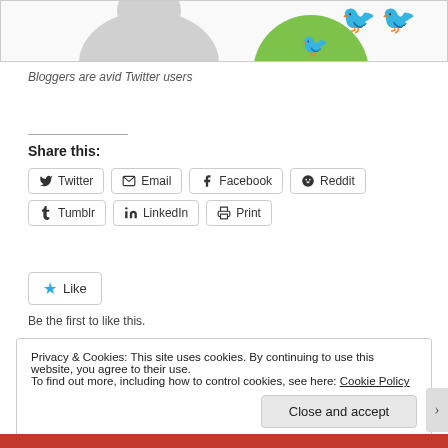[Figure (illustration): Partial chart/image showing a green circle and grey shape at the top of the page, partially cropped]
Bloggers are avid Twitter users
Share this:
Twitter  Email  Facebook  Reddit  Tumblr  LinkedIn  Print
Like
Be the first to like this.
Privacy & Cookies: This site uses cookies. By continuing to use this website, you agree to their use.
To find out more, including how to control cookies, see here: Cookie Policy
Close and accept